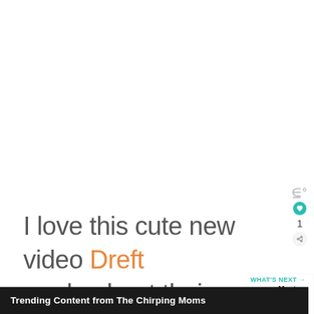I love this cute new video Dreft made about their #AmazingHood campaign and the new produ...
1
Trending Content from The Chirping Moms
WHAT'S NEXT → Must-Have Baby...